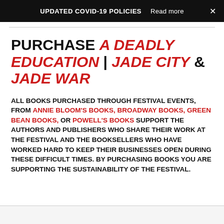UPDATED COVID-19 POLICIES   Read more   ×
PURCHASE A DEADLY EDUCATION | JADE CITY & JADE WAR
ALL BOOKS PURCHASED THROUGH FESTIVAL EVENTS, FROM ANNIE BLOOM'S BOOKS, BROADWAY BOOKS, GREEN BEAN BOOKS, OR POWELL'S BOOKS SUPPORT THE AUTHORS AND PUBLISHERS WHO SHARE THEIR WORK AT THE FESTIVAL AND THE BOOKSELLERS WHO HAVE WORKED HARD TO KEEP THEIR BUSINESSES OPEN DURING THESE DIFFICULT TIMES. BY PURCHASING BOOKS YOU ARE SUPPORTING THE SUSTAINABILITY OF THE FESTIVAL.